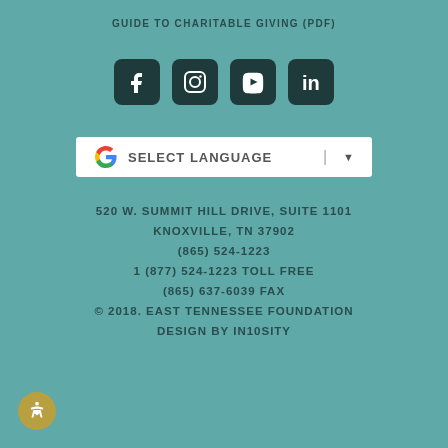GUIDE TO CHARITABLE GIVING (PDF)
[Figure (other): Social media icons: Facebook, Instagram, YouTube, LinkedIn]
[Figure (other): Google Translate selector widget with G logo, SELECT LANGUAGE text, divider and dropdown arrow]
520 W. SUMMIT HILL DRIVE, SUITE 1101
KNOXVILLE, TN 37902
(865) 524-1223
1 (877) 524-1223 TOLL FREE
(865) 637-6039 FAX
© 2018. EAST TENNESSEE FOUNDATION
DESIGN BY IN10SITY